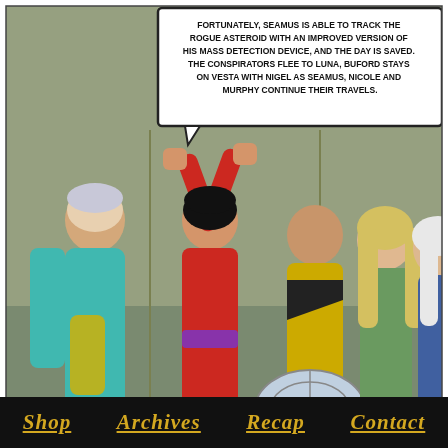[Figure (illustration): Comic strip panel from Quantum Vibe showing a superhero scene. A speech bubble at top reads: FORTUNATELY, SEAMUS IS ABLE TO TRACK THE ROGUE ASTEROID WITH AN IMPROVED VERSION OF HIS MASS DETECTION DEVICE, AND THE DAY IS SAVED. THE CONSPIRATORS FLEE TO LUNA, BUFORD STAYS ON VESTA WITH NIGEL AS SEAMUS, NICOLE AND MURPHY CONTINUE THEIR TRAVELS. Below are illustrated characters: a person in teal suit on left, a woman in red superhero costume with arms raised, a man in yellow-black shirt, a blonde woman, and a white-haired woman on right.]
Today on Quantum Vibe: OSTF Vesta
Strip 871 - Click strip above to goto the next strip.
First Seen: Sat 2014-07-05
Story & Art: Scott Bieser - Colors: Zeke Bieser
Sci-Fi Adventure Monday & Thursday.
[Figure (logo): Big Head Press logo: circular gold ring with BIG HEAD PRESS text and a stylized face. Tagline: Thoughtful Stories]
Shop   Archives   Recap   Contact